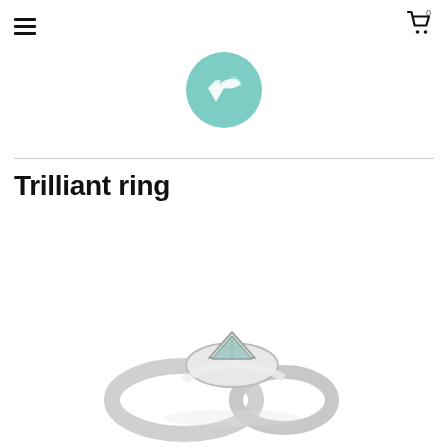Navigation bar with hamburger menu and shopping cart icon
[Figure (logo): Circular mint/teal colored logo with a diamond and leaf/wing icon in white]
Trilliant ring
[Figure (photo): Silver ring with a trilliant-cut pale green/aquamarine gemstone bezel-set, partially visible from above on white background]